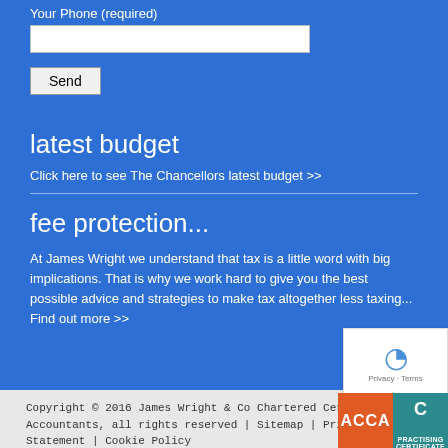Your Phone (required)
latest budget
Click here to see The Chancellors latest budget >>
fee protection...
At James Wright we understand that tax is a little word with big implications. That is why we work hard to give you the best possible advice and strategies to make tax altogether less taxing... Find out more >>
Copyright © 2016 James Wright & Co Chartered Certified Accountants, all rights reserved | Sitemap | Privacy Statement | Cookie Policy